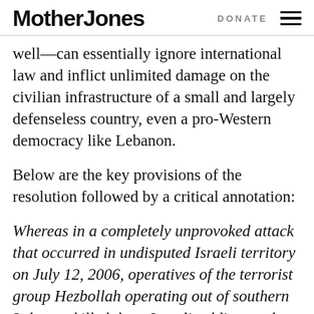Mother Jones | DONATE
well—can essentially ignore international law and inflict unlimited damage on the civilian infrastructure of a small and largely defenseless country, even a pro-Western democracy like Lebanon.
Below are the key provisions of the resolution followed by a critical annotation:
Whereas in a completely unprovoked attack that occurred in undisputed Israeli territory on July 12, 2006, operatives of the terrorist group Hezbollah operating out of southern Lebanon killed three Israeli soldiers and took two others hostage;
Though clearly an illegal and provocative act,